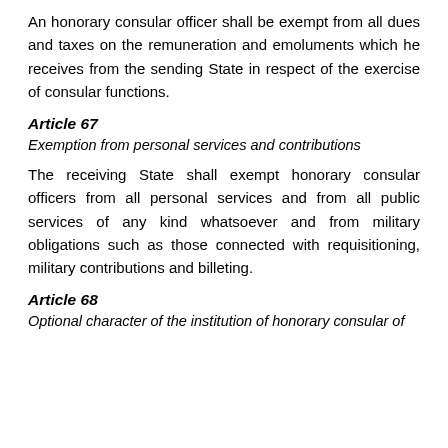An honorary consular officer shall be exempt from all dues and taxes on the remuneration and emoluments which he receives from the sending State in respect of the exercise of consular functions.
Article 67
Exemption from personal services and contributions
The receiving State shall exempt honorary consular officers from all personal services and from all public services of any kind whatsoever and from military obligations such as those connected with requisitioning, military contributions and billeting.
Article 68
Optional character of the institution of honorary consular of...